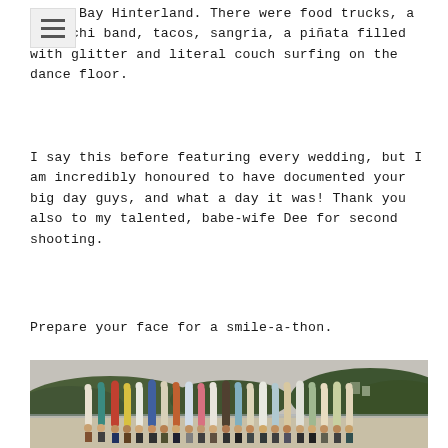Byron Bay Hinterland. There were food trucks, a mariachi band, tacos, sangria, a piñata filled with glitter and literal couch surfing on the dance floor.
I say this before featuring every wedding, but I am incredibly honoured to have documented your big day guys, and what a day it was! Thank you also to my talented, babe-wife Dee for second shooting.
Prepare your face for a smile-a-thon.
[Figure (photo): Group photo on a beach with people holding colourful surfboards upright, with green hills and overcast sky in the background. Byron Bay coastal scene.]